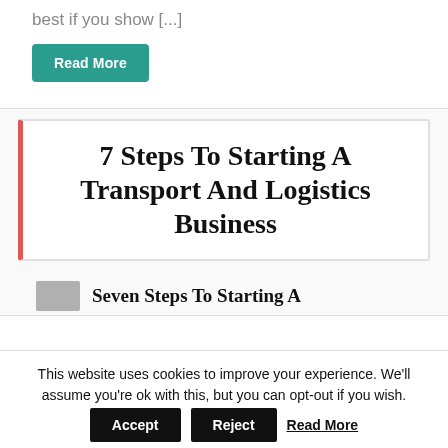best if you show [...]
Read More
[Figure (other): Article card image with bold serif title text: 7 Steps To Starting A Transport And Logistics Business, white background with red left border]
7 Steps To Starting A Transport And Logistics Business
Seven Steps To Starting A
This website uses cookies to improve your experience. We'll assume you're ok with this, but you can opt-out if you wish.
Accept
Reject
Read More